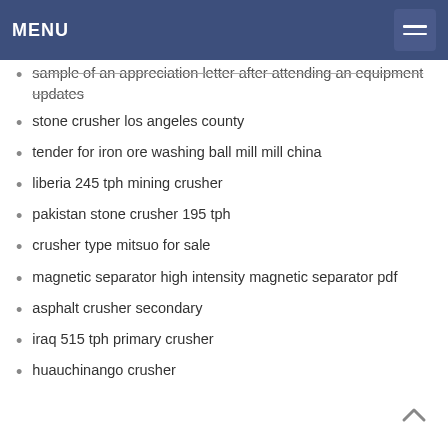MENU
sample of an appreciation letter after attending an equipment updates
stone crusher los angeles county
tender for iron ore washing ball mill mill china
liberia 245 tph mining crusher
pakistan stone crusher 195 tph
crusher type mitsuo for sale
magnetic separator high intensity magnetic separator pdf
asphalt crusher secondary
iraq 515 tph primary crusher
huauchinango crusher